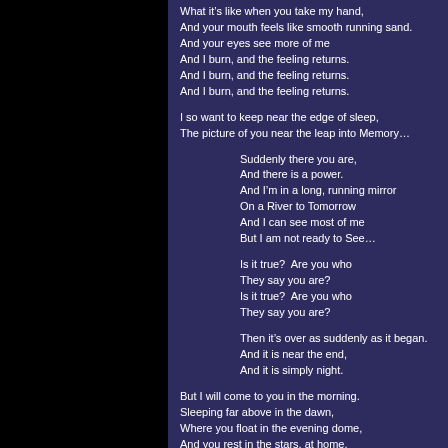What it's like when you take my hand,
And your mouth feels like smooth running sand.
And your eyes see more of me
And I burn, and the feeling returns.
And I burn, and the feeling returns.
And I burn, and the feeling returns.

I so want to keep near the edge of sleep,
The picture of you near the leap into Memory…

Suddenly there you are,
And there is a power.
And I'm in a long, running mirror
On a River to Tomorrow
And I can see most of me
But I am not ready to See…

Is it true?  Are you who
They say you are?
Is it true?  Are you who
They say you are?

Then it's over as suddenly as it began.
And it is near the end,
And it is simply night.

But I will come to you in the morning.
Sleeping far above in the dawn,
Where you float in the evening dome,
And you rest in the stars, at home.
But you will never be alone.